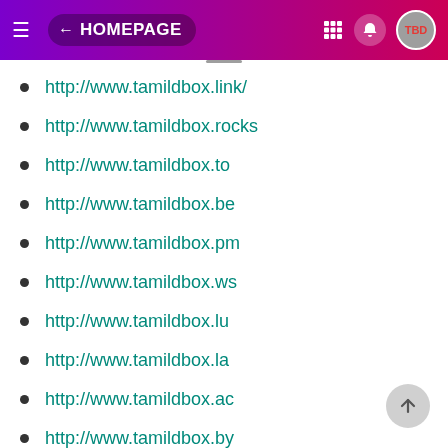HOMEPAGE
http://www.tamildbox.link/
http://www.tamildbox.rocks
http://www.tamildbox.to
http://www.tamildbox.be
http://www.tamildbox.pm
http://www.tamildbox.ws
http://www.tamildbox.lu
http://www.tamildbox.la
http://www.tamildbox.ac
http://www.tamildbox.by
http://www.tamildbox.hn
http://www.tamikdbox.cl
http://www.tamildbox.ph